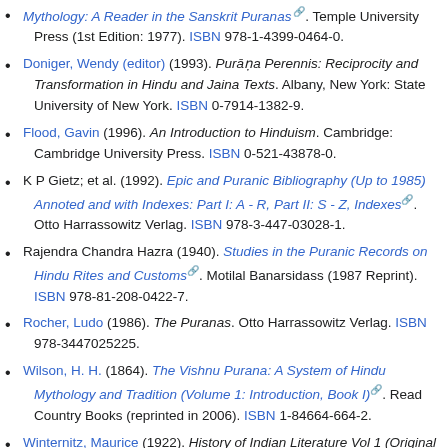Mythology: A Reader in the Sanskrit Puranas [link]. Temple University Press (1st Edition: 1977). ISBN 978-1-4399-0464-0.
Doniger, Wendy (editor) (1993). Purāṇa Perennis: Reciprocity and Transformation in Hindu and Jaina Texts. Albany, New York: State University of New York. ISBN 0-7914-1382-9.
Flood, Gavin (1996). An Introduction to Hinduism. Cambridge: Cambridge University Press. ISBN 0-521-43878-0.
K P Gietz; et al. (1992). Epic and Puranic Bibliography (Up to 1985) Annoted and with Indexes: Part I: A - R, Part II: S - Z, Indexes [link]. Otto Harrassowitz Verlag. ISBN 978-3-447-03028-1.
Rajendra Chandra Hazra (1940). Studies in the Puranic Records on Hindu Rites and Customs [link]. Motilal Banarsidass (1987 Reprint). ISBN 978-81-208-0422-7.
Rocher, Ludo (1986). The Puranas. Otto Harrassowitz Verlag. ISBN 978-3447025225.
Wilson, H. H. (1864). The Vishnu Purana: A System of Hindu Mythology and Tradition (Volume 1: Introduction, Book I) [link]. Read Country Books (reprinted in 2006). ISBN 1-84664-664-2.
Winternitz, Maurice (1922). History of Indian Literature Vol 1 (Original in German, translated into English by VS Sarma...